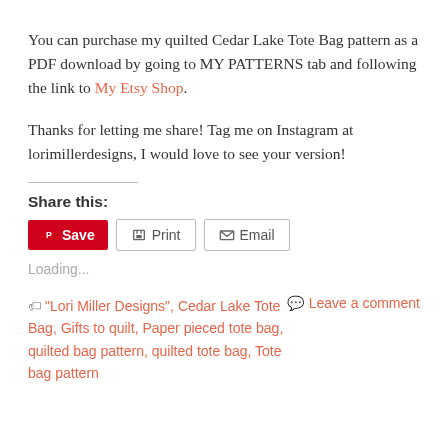You can purchase my quilted Cedar Lake Tote Bag pattern as a PDF download by going to MY PATTERNS tab and following the link to My Etsy Shop.
Thanks for letting me share!  Tag me on Instagram at lorimillerdesigns, I would love to see your version!
Share this:
Loading...
"Lori Miller Designs", Cedar Lake Tote Bag, Gifts to quilt, Paper pieced tote bag, quilted bag pattern, quilted tote bag, Tote bag pattern
Leave a comment